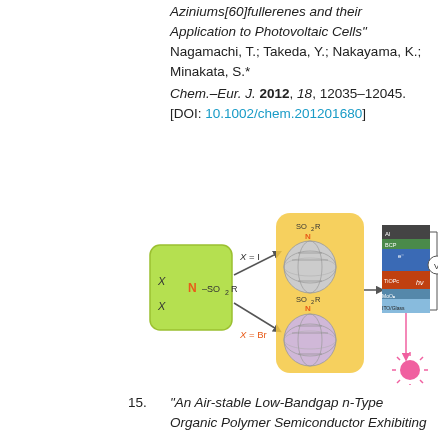Aziniums[60]fullerenes and their Application to Photovoltaic Cells" Nagamachi, T.; Takeda, Y.; Nakayama, K.; Minakata, S.* Chem.–Eur. J. 2012, 18, 12035–12045. [DOI: 10.1002/chem.201201680]
[Figure (schematic): Reaction scheme showing N-sulfonyl azinium compound reacting with X=I to give SO2R-substituted fullerene and X=Br to give another SO2R-substituted fullerene, with a photovoltaic cell stack diagram (Al/BCP/electron layer/TiOPc/MoO3/ITO Glass) and a sun icon.]
15. "An Air-stable Low-Bandgap n-Type Organic Polymer Semiconductor Exhibiting